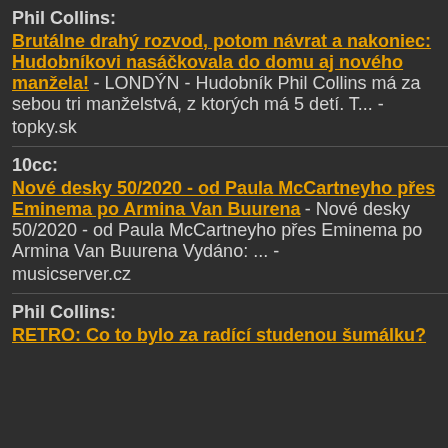Phil Collins: Brutálne drahý rozvod, potom návrat a nakoniec: Hudobníkovi nasáčkovala do domu aj nového manžela! - LONDÝN - Hudobník Phil Collins má za sebou tri manželstvá, z ktorých má 5 detí. T... - topky.sk
10cc: Nové desky 50/2020 - od Paula McCartneyho přes Eminema po Armina Van Buurena - Nové desky 50/2020 - od Paula McCartneyho přes Eminema po Armina Van Buurena Vydáno: ... - musicserver.cz
Phil Collins: RETRO: Co to bylo za radící studenou šumálku?
Cos you're not anywhere
That I can find you, oh
Now Billy, Billy don't you lose my
Cos you're not anywhere that I can